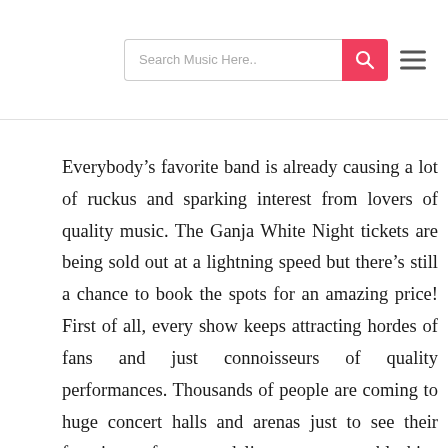Search Music Here..
Everybody’s favorite band is already causing a lot of ruckus and sparking interest from lovers of quality music. The Ganja White Night tickets are being sold out at a lightning speed but there’s still a chance to book the spots for an amazing price! First of all, every show keeps attracting hordes of fans and just connoisseurs of quality performances. Thousands of people are coming to huge concert halls and arenas just to see their favorite performer and listen to memorable hits. Thousands of people will be gathering around just to witness a star performing on stage. We are making sure to keep our tickets within the affordable price range while providing you with updated information on everything that’s